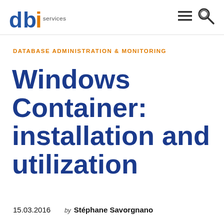dbi services
DATABASE ADMINISTRATION & MONITORING
Windows Container: installation and utilization
15.03.2016    by Stéphane Savorgnano